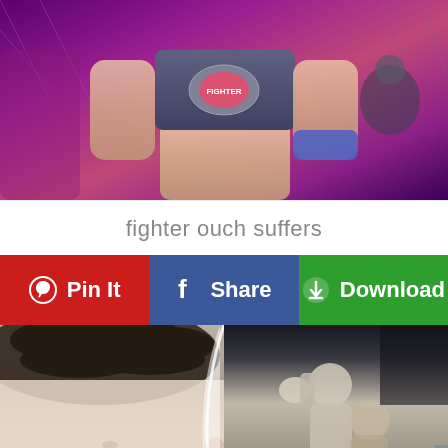[Figure (photo): MMA female fighter standing in cage, wearing fighter top, with purple background and cage netting visible]
fighter ouch suffers
[Figure (photo): Social media sharing buttons: Pin It (red/Pinterest), Share (blue/Facebook), Download (green)]
[Figure (photo): Two photos side by side: left shows close-up of man's head/scalp from behind; right shows boxing/Muay Thai fighters in a ring with blue ropes]